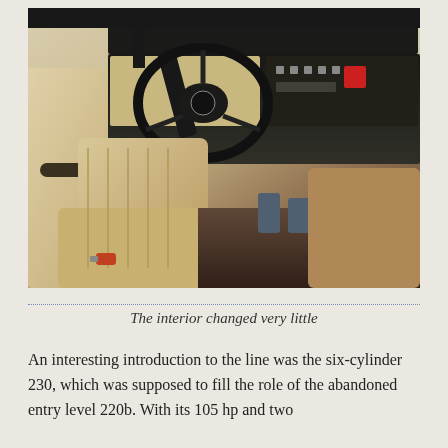[Figure (photo): Interior of a vintage Mercedes-Benz automobile showing the dashboard, steering wheel, front seats in beige/tan leather, center console, and instrument panel with radio and controls.]
The interior changed very little
An interesting introduction to the line was the six-cylinder 230, which was supposed to fill the role of the abandoned entry level 220b. With its 105 hp and two